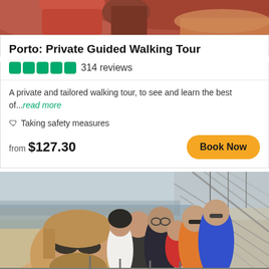[Figure (photo): Top portion of a photo showing people outdoors, partially cropped]
Porto: Private Guided Walking Tour
●●●●● 314 reviews
A private and tailored walking tour, to see and learn the best of...read more
🛡 Taking safety measures
from $127.30
Book Now
[Figure (photo): Group selfie photo of tourists with a guide in Porto, with the Dom Luís I Bridge visible in the background]